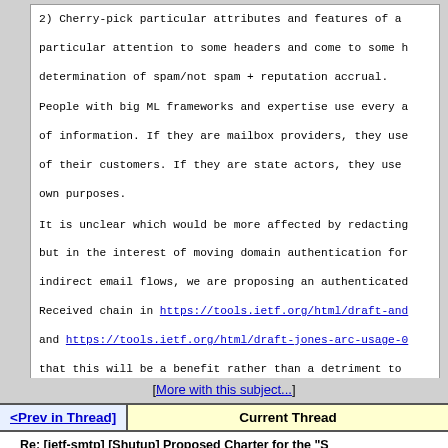2) Cherry-pick particular attributes and features of a particular attention to some headers and come to some h determination of spam/not spam + reputation accrual.
People with big ML frameworks and expertise use every a of information. If they are mailbox providers, they use of their customers. If they are state actors, they use own purposes.
It is unclear which would be more affected by redacting but in the interest of moving domain authentication for indirect email flows, we are proposing an authenticated Received chain in https://tools.ietf.org/html/draft-and and https://tools.ietf.org/html/draft-jones-arc-usage-0 that this will be a benefit rather than a detriment to
--Kurt
ietf-smtp mailing list
ietf-smtp(_at_)ietf(_dot_)org
https://www.ietf.org/mailman/listinfo/ietf-smtp
[More with this subject...]
<Prev in Thread]     Current Thread
Re: [ietf-smtp] [Shutup] Proposed Charter for the "S